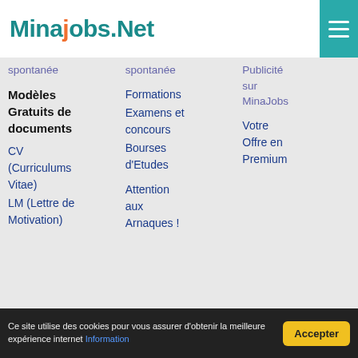MinaJobs.Net
spontanée
spontanée
Publicité sur MinaJobs
Modèles Gratuits de documents
Formations
Votre Offre en Premium
CV (Curriculums Vitae)
Examens et concours
LM (Lettre de Motivation)
Bourses d'Etudes
Attention aux Arnaques !
Ce site utilise des cookies pour vous assurer d'obtenir la meilleure expérience internet Information